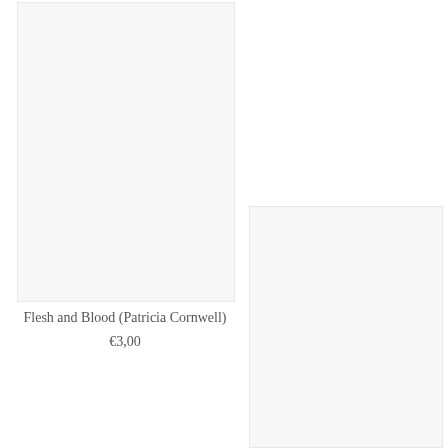[Figure (other): Book cover thumbnail placeholder - light grey rectangle on the left side]
[Figure (other): Book cover thumbnail placeholder - light grey rectangle on the right side]
Flesh and Blood (Patricia Cornwell)
€3,00